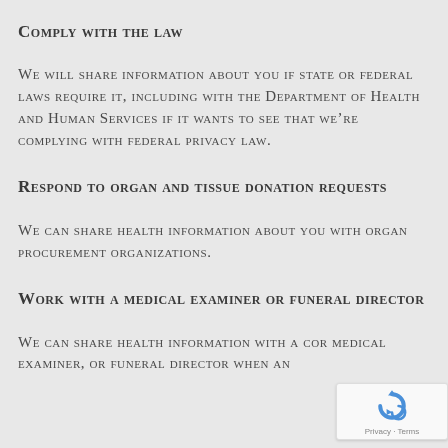Comply with the law
We will share information about you if state or federal laws require it, including with the Department of Health and Human Services if it wants to see that we’re complying with federal privacy law.
Respond to organ and tissue donation requests
We can share health information about you with organ procurement organizations.
Work with a medical examiner or funeral director
We can share health information with a cor medical examiner, or funeral director when an